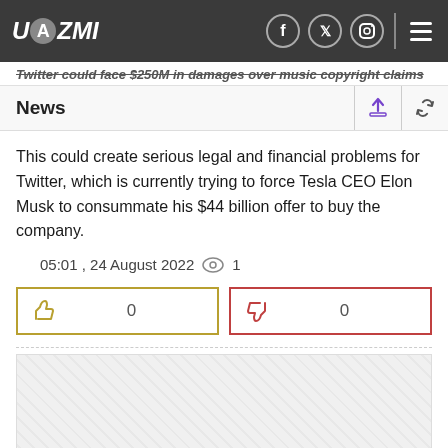UAZMI
News
This could create serious legal and financial problems for Twitter, which is currently trying to force Tesla CEO Elon Musk to consummate his $44 billion offer to buy the company.
05:01 , 24 August 2022  1
[Figure (infographic): Like button with count 0 and dislike button with count 0]
[Figure (other): Advertisement placeholder box (gray)]